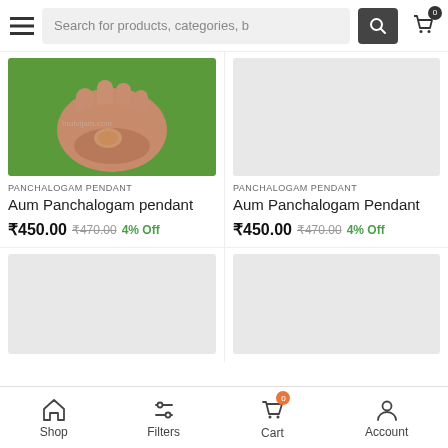Search for products, categories, b
[Figure (photo): Hand holding a panchalogam pendant on green grass background]
PANCHALOGAM PENDANT
Aum Panchalogam pendant
₹450.00  ₹470.00  4% Off
[Figure (photo): Placeholder light gray image for Panchalogam Pendant]
PANCHALOGAM PENDANT
Aum Panchalogam Pendant
₹450.00  ₹470.00  4% Off
[Figure (photo): Placeholder light gray image - product loading]
[Figure (photo): Placeholder light gray image - product loading]
Shop  Filters  Cart  Account